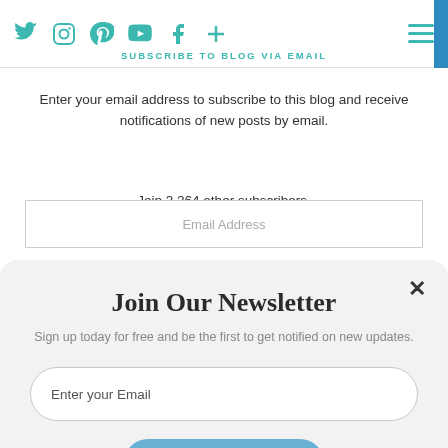Social media icons: Twitter, Instagram, Pinterest, YouTube, Facebook, Plus | Hamburger menu
SUBSCRIBE TO BLOG VIA EMAIL
Enter your email address to subscribe to this blog and receive notifications of new posts by email.
Join 3,264 other subscribers.
Email Address
Join Our Newsletter
Sign up today for free and be the first to get notified on new updates.
Enter your Email
SUBSCRIBE NOW